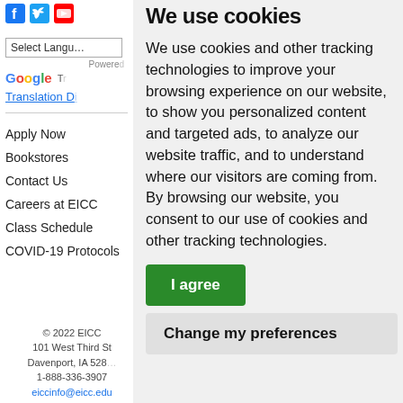[Figure (logo): Facebook, Twitter, YouTube social media icons]
Select Language
Powered by Google Translate
Translation D...
Apply Now
Bookstores
Contact Us
Careers at EICC
Class Schedule
COVID-19 Protocols
© 2022 EICC
101 West Third St
Davenport, IA 528...
1-888-336-3907
eiccinfo@eicc.edu
We use cookies
We use cookies and other tracking technologies to improve your browsing experience on our website, to show you personalized content and targeted ads, to analyze our website traffic, and to understand where our visitors are coming from. By browsing our website, you consent to our use of cookies and other tracking technologies.
I agree
Change my preferences